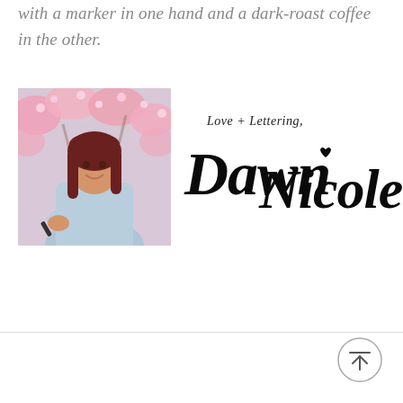with a marker in one hand and a dark-roast coffee in the other.
[Figure (photo): Photo of Dawn Nicole holding a marker, standing in front of pink cherry blossom flowers, wearing a denim jacket. Beside the photo is a handwritten-style signature reading 'Love + Lettering, Dawn Nicole'.]
[Figure (other): Scroll-to-top button: circle with an upward arrow and a horizontal line above it, in gray outline style.]